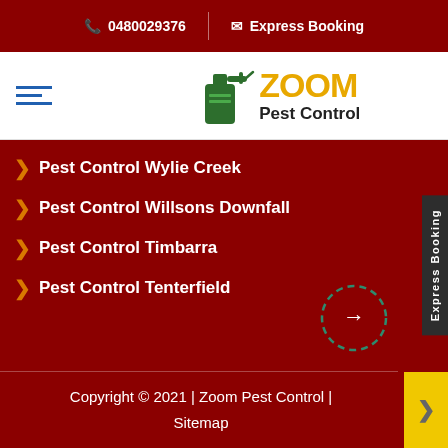📞 0480029376   ✉ Express Booking
[Figure (logo): Zoom Pest Control logo with green spray bottle icon, ZOOM in gold text and Pest Control in black text]
Pest Control Wylie Creek
Pest Control Willsons Downfall
Pest Control Timbarra
Pest Control Tenterfield
Copyright © 2021 | Zoom Pest Control | Sitemap